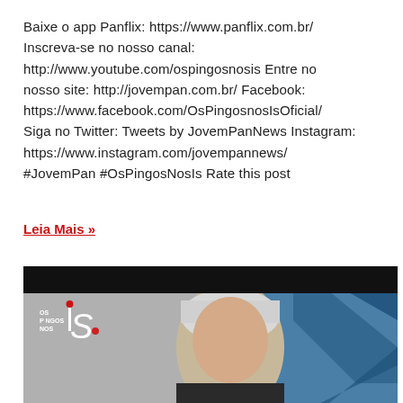Baixe o app Panflix: https://www.panflix.com.br/ Inscreva-se no nosso canal: http://www.youtube.com/ospingosnosis Entre no nosso site: http://jovempan.com.br/ Facebook: https://www.facebook.com/OsPingosnosIsOficial/ Siga no Twitter: Tweets by JovemPanNews Instagram: https://www.instagram.com/jovempannews/ #JovemPan #OsPingosNosIs Rate this post
Leia Mais »
[Figure (screenshot): Video thumbnail showing a grey-haired man in front of a blue geometric studio background with 'Os Pingos Nos Is' TV show logo overlay in the bottom left corner.]